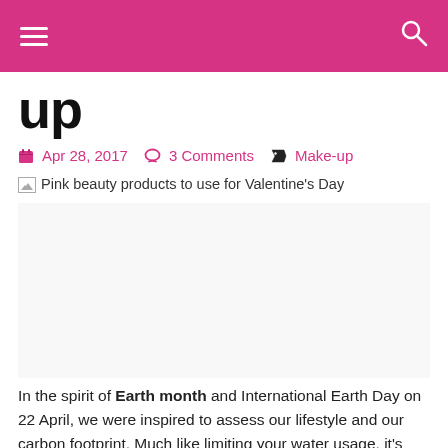Navigation header with hamburger menu and search icon
up
Apr 28, 2017  3 Comments  Make-up
[Figure (photo): Broken image placeholder with alt text: Pink beauty products to use for Valentine's Day]
In the spirit of Earth month and International Earth Day on 22 April, we were inspired to assess our lifestyle and our carbon footprint. Much like limiting your water usage, it's